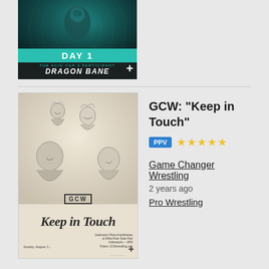[Figure (photo): Dragon Bane Day 1 Acid Cup 3 Participant promotional image with teal background]
[Figure (photo): GCW Keep in Touch event poster featuring wrestling personalities in sketch art style, GCW logo, Keep in Touch cursive text, event details Sunday August 2]
GCW: "Keep in Touch"
PPV ★★★★★
Game Changer Wrestling
2 years ago
Pro Wrestling